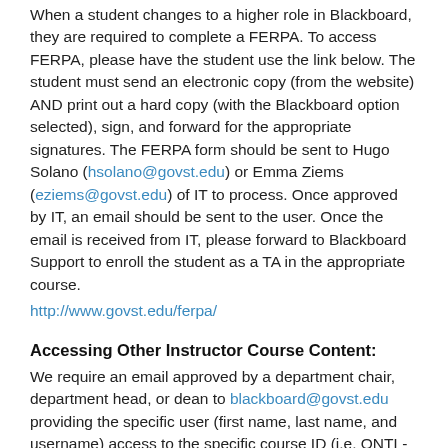When a student changes to a higher role in Blackboard, they are required to complete a FERPA. To access FERPA, please have the student use the link below. The student must send an electronic copy (from the website) AND print out a hard copy (with the Blackboard option selected), sign, and forward for the appropriate signatures. The FERPA form should be sent to Hugo Solano (hsolano@govst.edu) or Emma Ziems (eziems@govst.edu) of IT to process. Once approved by IT, an email should be sent to the user. Once the email is received from IT, please forward to Blackboard Support to enroll the student as a TA in the appropriate course.
http://www.govst.edu/ferpa/
Accessing Other Instructor Course Content:
We require an email approved by a department chair, department head, or dean to blackboard@govst.edu providing the specific user (first name, last name, and username) access to the specific course ID (i.e. ONTL-1000-01_18SP).